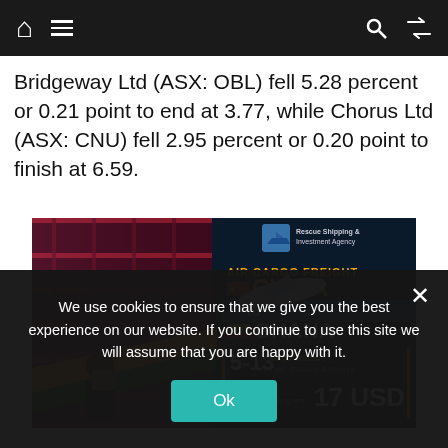Navigation bar with home, menu, search, shuffle icons
Bridgeway Ltd (ASX: OBL) fell 5.28 percent or 0.21 point to end at 3.77, while Chorus Ltd (ASX: CNU) fell 2.95 percent or 0.20 point to finish at 6.59.
[Figure (infographic): Advertisement for Rescue Shipping & Investment Agency: Air Cargo Freight China to Ghana. 5-13 Days Transit, Fast, Reliable & Prompt. GHc 119 Off on every 25 kilogram - 17 USD.]
We use cookies to ensure that we give you the best experience on our website. If you continue to use this site we will assume that you are happy with it.